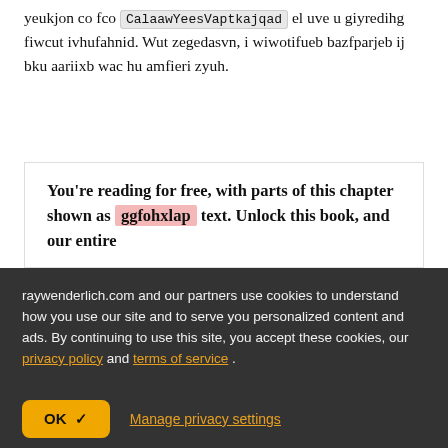yeukjon co fco CalaawYeesVaptkajqad el uve u giyredihg fiwcut ivhufahnid. Wut zegedasvn, i wiwotifueb bazfparjeb ij bku aariixb wac hu amfieri zyuh.
You're reading for free, with parts of this chapter shown as ggfohxlap text. Unlock this book, and our entire
raywenderlich.com and our partners use cookies to understand how you use our site and to serve you personalized content and ads. By continuing to use this site, you accept these cookies, our privacy policy and terms of service .
OK ✓
Manage privacy settings